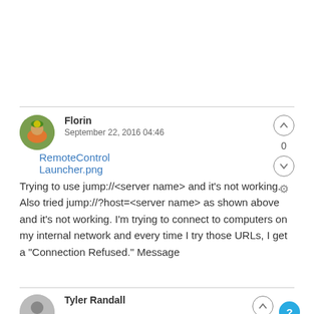RemoteControl Launcher.png
Florin
September 22, 2016 04:46
Trying to use jump://<server name> and it's not working. Also tried jump://?host=<server name> as shown above and it's not working. I'm trying to connect to computers on my internal network and every time I try those URLs, I get a "Connection Refused." Message
Tyler Randall